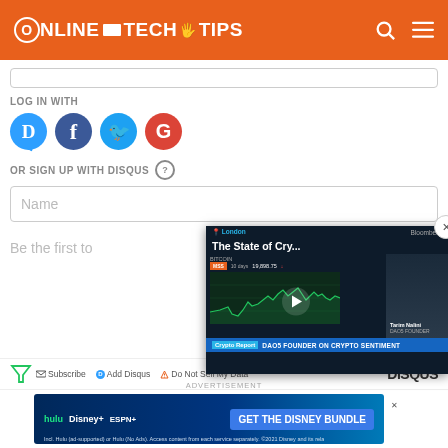ONLINE TECH TIPS
LOG IN WITH
[Figure (logo): Social login icons: Disqus (D), Facebook (f), Twitter bird, Google (G)]
OR SIGN UP WITH DISQUS ?
Name
[Figure (screenshot): Bloomberg video overlay: The State of Cry... - DAO5 FOUNDER ON CRYPTO SENTIMENT]
Be the first to
Subscribe  Add Disqus  Do Not Sell My Data  DISQUS
ADVERTISEMENT
[Figure (illustration): Hulu Disney+ ESPN+ Get the Disney Bundle advertisement banner]